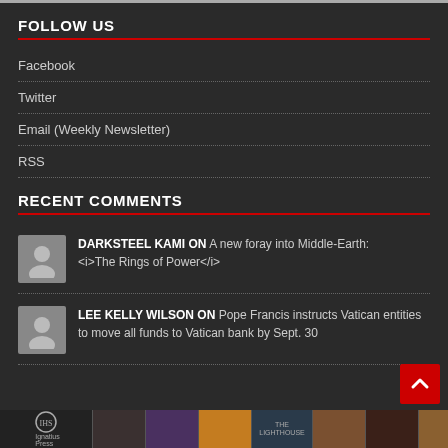FOLLOW US
Facebook
Twitter
Email (Weekly Newsletter)
RSS
RECENT COMMENTS
DARKSTEEL KAMI ON A new foray into Middle-Earth: <i>The Rings of Power</i>
LEE KELLY WILSON ON Pope Francis instructs Vatican entities to move all funds to Vatican bank by Sept. 30